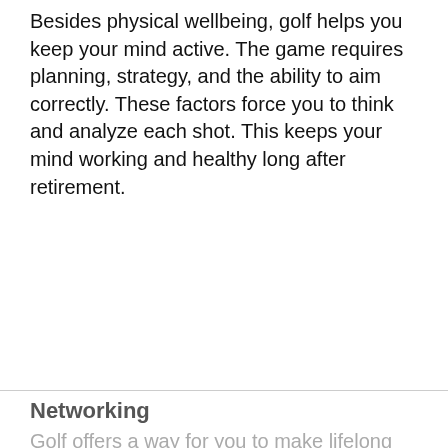Besides physical wellbeing, golf helps you keep your mind active. The game requires planning, strategy, and the ability to aim correctly. These factors force you to think and analyze each shot. This keeps your mind working and healthy long after retirement.
Networking
Golf offers a way for you to make lifelong friends. Although it